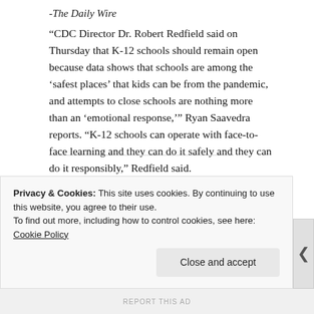-The Daily Wire
“CDC Director Dr. Robert Redfield said on Thursday that K-12 schools should remain open because data shows that schools are among the ‘safest places’ that kids can be from the pandemic, and attempts to close schools are nothing more than an ‘emotional response,’” Ryan Saavedra reports. “K-12 schools can operate with face-to-face learning and they can do it safely and they can do it responsibly,” Redfield said.
🎬 Vice President Pence: CDC does not recommend school closures
Privacy & Cookies: This site uses cookies. By continuing to use this website, you agree to their use.
To find out more, including how to control cookies, see here: Cookie Policy
Close and accept